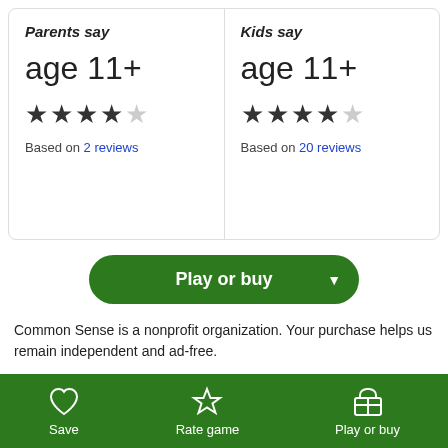Parents say
age 11+
★★★★☆
Based on 2 reviews
Kids say
age 11+
★★★★☆
Based on 20 reviews
[Figure (other): Play or buy green button with dropdown arrow]
Common Sense is a nonprofit organization. Your purchase helps us remain independent and ad-free.
[Figure (photo): Game screenshot banner showing a game scene with green and blue colors]
Save | Rate game | Play or buy